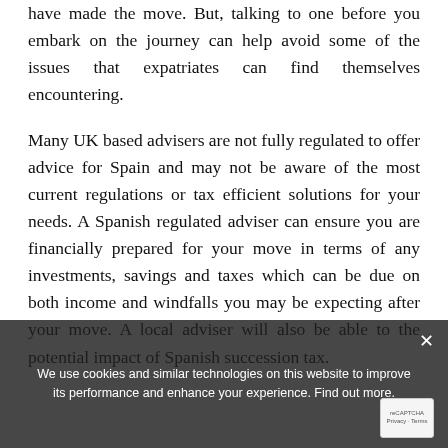have made the move. But, talking to one before you embark on the journey can help avoid some of the issues that expatriates can find themselves encountering.
Many UK based advisers are not fully regulated to offer advice for Spain and may not be aware of the most current regulations or tax efficient solutions for your needs. A Spanish regulated adviser can ensure you are financially prepared for your move in terms of any investments, savings and taxes which can be due on both income and windfalls you may be expecting after your move. A local adviser will also be able to the potential impact of Spanish succession tax.
We use cookies and similar technologies on this website to improve its performance and enhance your experience. Find out more.